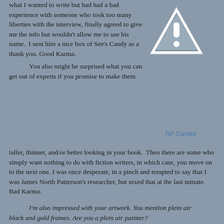what I wanted to write but had had a bad experience with someone who took too many liberties with the interview, finally agreed to give me the info but wouldn't allow me to use his name.  I sent him a nice box of See's Candy as a thank you. Good Karma.

    You also might be surprised what you can get out of experts if you promise to make them taller, thinner, and/or better looking in your book.  Then there are some who simply want nothing to do with fiction writers, in which case, you move on to the next one. I was once desperate, in a pinch and tempted to say that I was James North Patterson's researcher, but nixed that at the last minute. Bad Karma.
[Figure (illustration): Warning triangle icon with exclamation mark, gray fill with white symbol]
RP Dahlke
I'm also impressed with your artwork. You mention plein air black and gold frames. Are you a plein air painter?